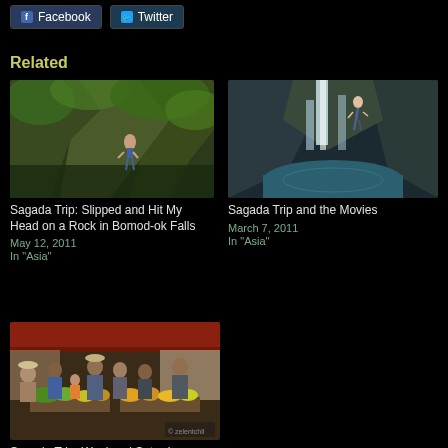[Figure (screenshot): Facebook and Twitter share buttons at top]
Related
[Figure (photo): Person climbing rocky waterfall with green vegetation - Bomod-ok Falls]
Sagada Trip: Slipped and Hit My Head on a Rock in Bomod-ok Falls
May 12, 2011
In "Asia"
[Figure (photo): Person jumping near large waterfall with turquoise pool below]
Sagada Trip and the Movies
March 7, 2011
In "Asia"
[Figure (photo): Busy outdoor market scene with vendors and produce - Saturday Market]
Sagada Trip: Weekend Saturday Market